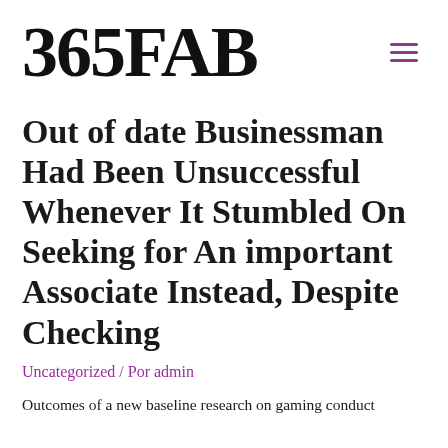365FAB
Out of date Businessman Had Been Unsuccessful Whenever It Stumbled On Seeking for An important Associate Instead, Despite Checking
Uncategorized / Por admin
Outcomes of a new baseline research on gaming conduct